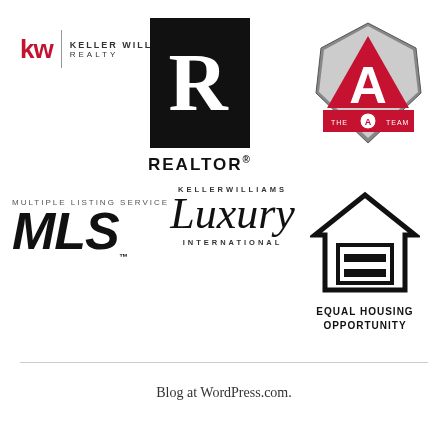[Figure (logo): Keller Williams Realty logo with red 'kw' text and vertical divider]
[Figure (logo): Realtor logo — black square with white R, REALTOR text below with registered mark]
[Figure (logo): The A Team badge logo with red triangle and star shield design]
[Figure (logo): Keller Williams Luxury International script logo]
[Figure (logo): Multiple Listing Service MLS logo in bold italic black text]
[Figure (logo): Equal Housing Opportunity logo with house and equal sign icon]
Blog at WordPress.com.